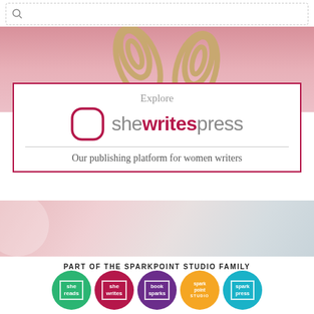[Figure (screenshot): Search bar UI element at top of page]
[Figure (photo): Pink background with gold paperclips]
[Figure (logo): She Writes Press promotional box with logo and tagline: Explore / she writes press / Our publishing platform for women writers]
[Figure (photo): Pink and white soft-focus photo background]
PART OF THE SPARKPOINT STUDIO FAMILY
[Figure (logo): Five circular logos: she reads (green), she writes (magenta), book sparks (purple), spark point studio (orange), spark press (teal)]